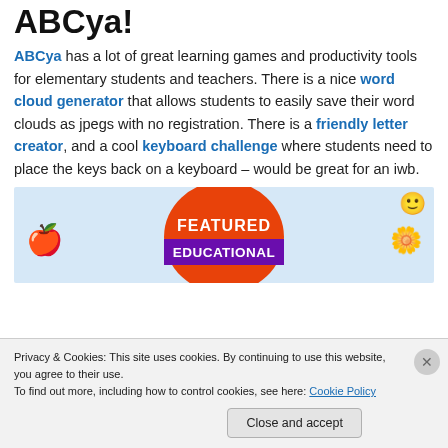ABCya!
ABCya has a lot of great learning games and productivity tools for elementary students and teachers. There is a nice word cloud generator that allows students to easily save their word clouds as jpegs with no registration. There is a friendly letter creator, and a cool keyboard challenge where students need to place the keys back on a keyboard – would be great for an iwb.
[Figure (photo): A featured educational badge (orange circle with 'FEATURED EDUCATIONAL' text), a red apple icon on the left, and a yellow sun/flower icon on the right, on a light blue background. There is also a small smiley face icon in the top right.]
Privacy & Cookies: This site uses cookies. By continuing to use this website, you agree to their use.
To find out more, including how to control cookies, see here: Cookie Policy
Close and accept